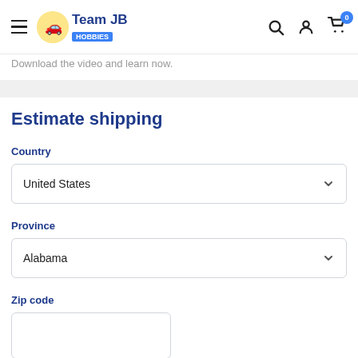Team JB Hobbies — navigation bar with hamburger menu, logo, search, account, and cart icons (0 items)
Download the video and learn now.
Estimate shipping
Country
United States
Province
Alabama
Zip code